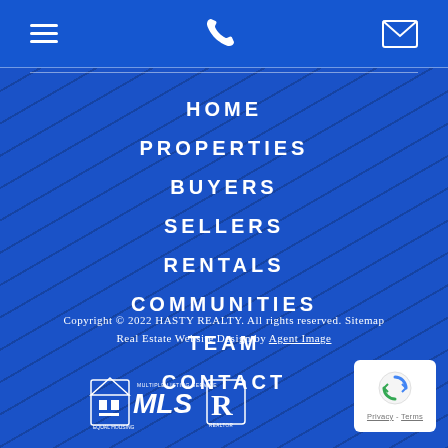Navigation header bar with hamburger menu, phone icon, and email icon
HOME
PROPERTIES
BUYERS
SELLERS
RENTALS
COMMUNITIES
TEAM
CONTACT
Copyright © 2022 HASTY REALTY. All rights reserved. Sitemap Real Estate Website Design by Agent Image
[Figure (logo): Equal Housing and MLS Realtor logos]
[Figure (other): reCAPTCHA badge with Privacy and Terms links]